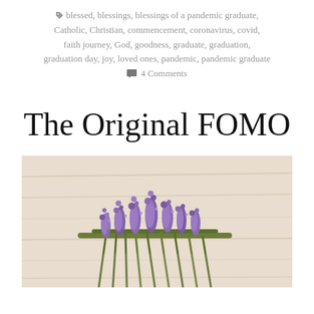blessed, blessings, blessings of a pandemic graduate, Catholic, Christian, commencement, coronavirus, covid, faith journey, God, goodness, graduate, graduation, graduation day, joy, loved ones, pandemic, pandemic graduate
4 Comments
The Original FOMO
[Figure (photo): A bunch of purple lavender flowers with green stems arranged on a light wooden surface, photographed close-up with soft focus background.]